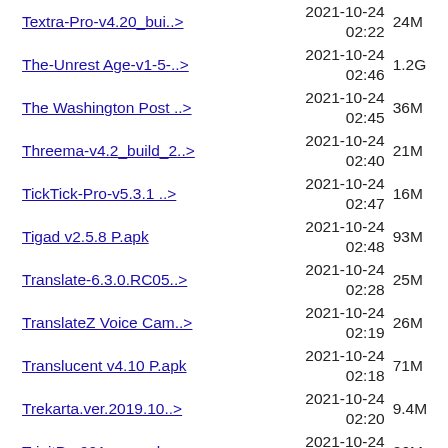Textra-Pro-v4.20_bui..> 2021-10-24 02:22 24M
The-Unrest Age-v1-5-..> 2021-10-24 02:46 1.2G
The Washington Post ..> 2021-10-24 02:45 36M
Threema-v4.2_build_2..> 2021-10-24 02:40 21M
TickTick-Pro-v5.3.1 ..> 2021-10-24 02:47 16M
Tigad v2.5.8 P.apk 2021-10-24 02:48 93M
Translate-6.3.0.RC05..> 2021-10-24 02:28 25M
TranslateZ Voice Cam..> 2021-10-24 02:19 26M
Translucent v4.10 P.apk 2021-10-24 02:18 71M
Trekarta.ver.2019.10..> 2021-10-24 02:20 9.4M
TripitPro901_crc.apk 2021-10-24 02:48 26M